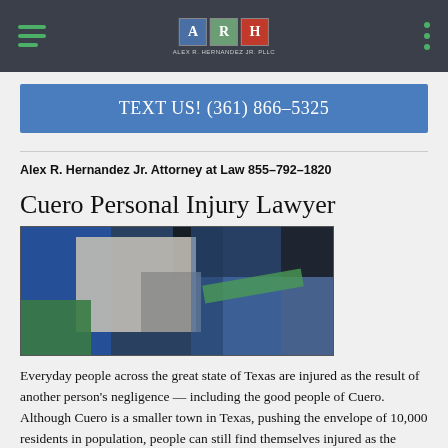ARH - Alex R. Hernandez Jr. Attorney at Law
TEXT US! (361) 866-5325
Alex R. Hernandez Jr. Attorney at Law 855-792-1820
Cuero Personal Injury Lawyer
[Figure (photo): Photo of a large commercial truck/semi-truck, showing the front grille and cab area with blue, gray, and green tones.]
Everyday people across the great state of Texas are injured as the result of another person's negligence — including the good people of Cuero. Although Cuero is a smaller town in Texas, pushing the envelope of 10,000 residents in population, people can still find themselves injured as the result of a car accident or a similar